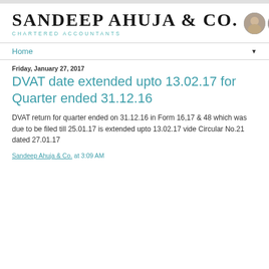[Figure (logo): Sandeep Ahuja & Co. Chartered Accountants logo with three circular profile photos]
Home ▼
Friday, January 27, 2017
DVAT date extended upto 13.02.17 for Quarter ended 31.12.16
DVAT return for quarter ended on 31.12.16 in Form 16,17 & 48 which was due to be filed till 25.01.17 is extended upto 13.02.17 vide Circular No.21 dated 27.01.17
Sandeep Ahuja & Co. at 3:09 AM